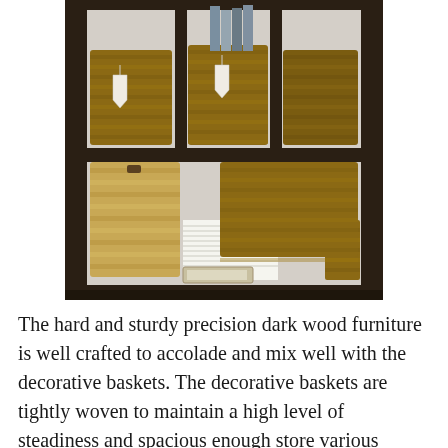[Figure (photo): A dark wood bookshelf unit with woven decorative baskets arranged on two shelves. The top shelf contains three large woven baskets with white tags, and books visible on top. The bottom shelf has a large woven basket, stacked papers/magazines, a small metal tray with items, and a partial basket on the right.]
The hard and sturdy precision dark wood furniture is well crafted to accolade and mix well with the decorative baskets. The decorative baskets are tightly woven to maintain a high level of steadiness and spacious enough store various things in the house. The easy to remove baskets are ideal